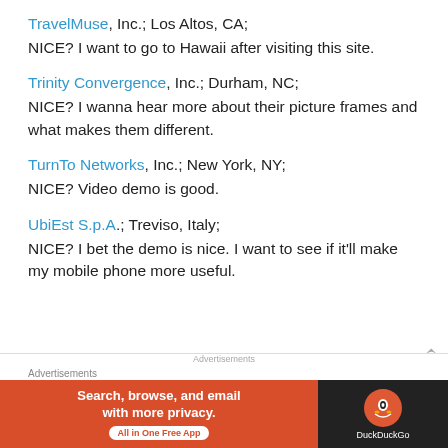TravelMuse, Inc.; Los Altos, CA;
NICE? I want to go to Hawaii after visiting this site.
Trinity Convergence, Inc.; Durham, NC;
NICE? I wanna hear more about their picture frames and what makes them different.
TurnTo Networks, Inc.; New York, NY;
NICE? Video demo is good.
UbiEst S.p.A.; Treviso, Italy;
NICE? I bet the demo is nice. I want to see if it’ll make my mobile phone more useful.
Advertisements
Search, browse, and email with more privacy. All in One Free App | DuckDuckGo